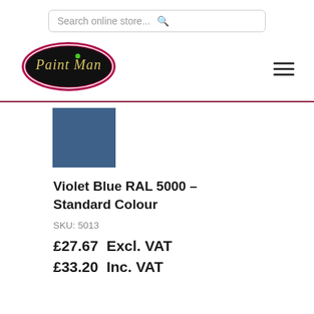[Figure (screenshot): Search bar with placeholder text 'Search online store...' and a search icon on the right]
[Figure (logo): Paint Man logo: dark oval shape with pink/crimson border, 'Paint Man' text in script font with a green dot above the 'i']
[Figure (illustration): Hamburger / navigation menu icon: three horizontal lines]
[Figure (other): Color swatch showing Violet Blue RAL 5000 paint color — a muted steel blue rectangle]
Violet Blue RAL 5000 – Standard Colour
SKU: 5013
£27.67  Excl. VAT
£33.20  Inc. VAT